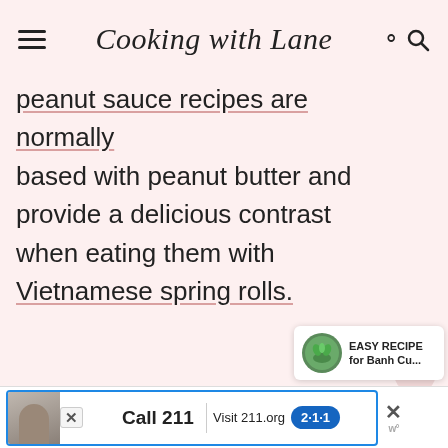Cooking with Lane
peanut sauce recipes are normally based with peanut butter and provide a delicious contrast when eating them with Vietnamese spring rolls.
[Figure (other): Sidebar with two circular pink icons and number 30]
[Figure (other): Easy Recipe for Banh Cu... card with green herb image]
[Figure (other): Advertisement banner: Call 211, Visit 211.org with blue 2-1-1 badge and person photo]